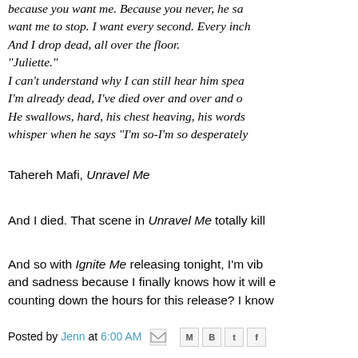because you want me. Because you never, he said want me to stop. I want every second. Every inch. And I drop dead, all over the floor. "Juliette." I can't understand why I can still hear him speak. I'm already dead, I've died over and over and o... He swallows, hard, his chest heaving, his words a whisper when he says "I'm so-I'm so desperately...
Tahereh Mafi, Unravel Me
And I died. That scene in Unravel Me totally kill...
And so with Ignite Me releasing tonight, I'm vib... and sadness because I finally knows how it will e... counting down the hours for this release? I know...
Posted by Jenn at 6:00 AM